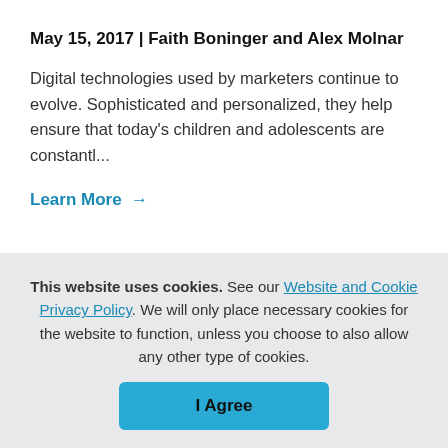May 15, 2017 | Faith Boninger and Alex Molnar
Digital technologies used by marketers continue to evolve. Sophisticated and personalized, they help ensure that today’s children and adolescents are constantl...
Learn More →
This website uses cookies. See our Website and Cookie Privacy Policy. We will only place necessary cookies for the website to function, unless you choose to also allow any other type of cookies.
I Agree